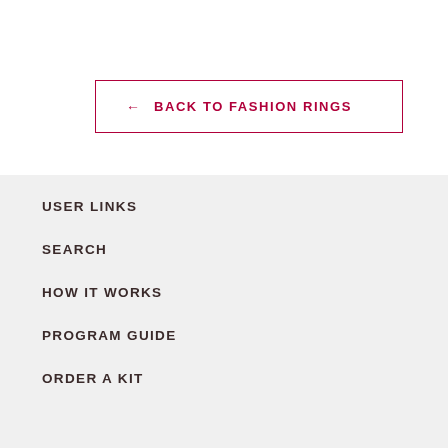← BACK TO FASHION RINGS
USER LINKS
SEARCH
HOW IT WORKS
PROGRAM GUIDE
ORDER A KIT